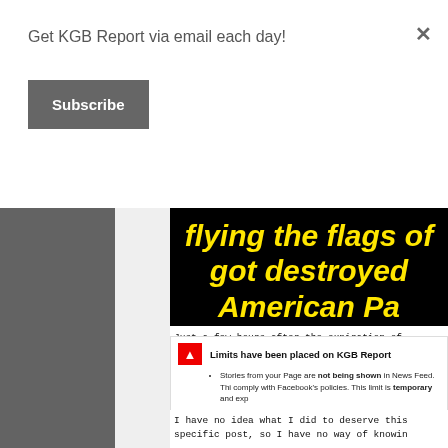Get KGB Report via email each day!
Subscribe
[Figure (screenshot): Black banner image with large bold yellow italic text reading: flying the flags of... got destroyed... American Pa...]
Just a few hours after the expiration of... appeared on my page last night:
[Figure (screenshot): Facebook notification box: 'Limits have been placed on KGB Report'. Stories from your Page are not being shown in News Feed. This... comply with Facebook's policies. This limit is temporary and exp... Buttons: Learn More, Disagree With Decision]
I have no idea what I did to deserve this... specific post, so I have no way of knowin...